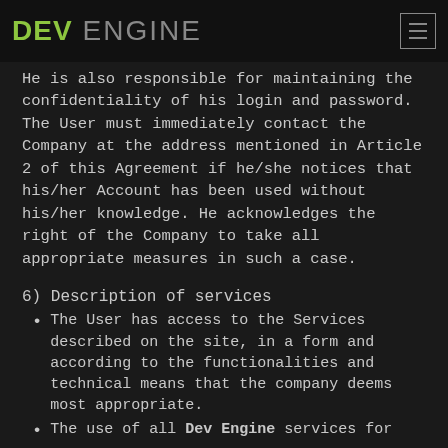DEV ENGINE
He is also responsible for maintaining the confidentiality of his login and password. The User must immediately contact the Company at the address mentioned in Article 2 of this Agreement if he/she notices that his/her Account has been used without his/her knowledge. He acknowledges the right of the Company to take all appropriate measures in such a case.
6) Description of services
The User has access to the Services described on the site, in a form and according to the functionalities and technical means that the company deems most appropriate.
The use of all Dev Engine services for